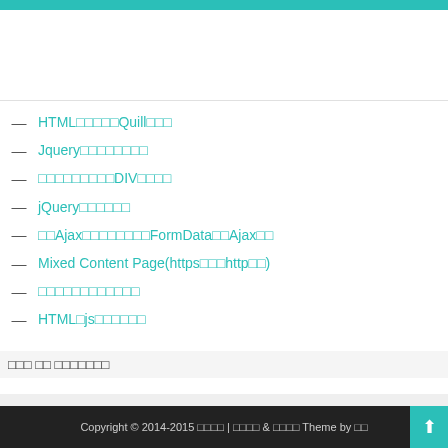HTML□□□□□Quill□□□
Jquery□□□□□□□□
□□□□□□□□□DIV□□□□
jQuery□□□□□□
□□Ajax□□□□□□□□□FormData□□Ajax□□
Mixed Content Page(https□□□http□□)
□□□□□□□□□□□□
HTML□js□□□□□□□
□□□ □□ □□□□□□□□
Copyright © 2014-2015 □□□□ | □□□□ & □□□□ Theme by □□